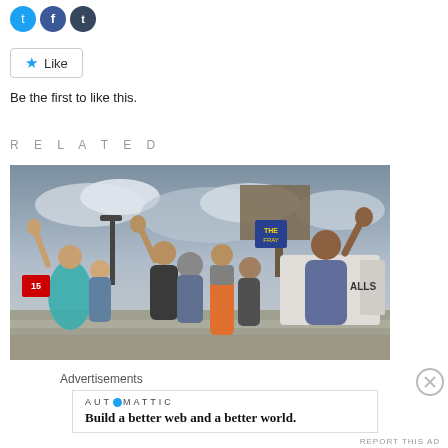[Figure (illustration): Three social media icon circles: blue Twitter bird icon, blue Facebook icon, dark blue Tumblr icon]
[Figure (illustration): Like button with blue star icon and text 'Like']
Be the first to like this.
RELATED
[Figure (photo): Outdoor protest scene with crowd of people, several raising fists in the air, cloudy sky, billboard and urban infrastructure in background, one person prominent in blue floral shirt on the right, woman in teal top on the left]
Advertisements
[Figure (logo): AUTOMATTIC logo with circular dot replacing the O]
Build a better web and a better world.
REPORT THIS AD